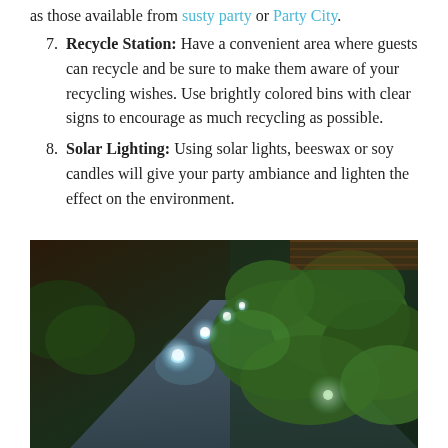as those available from susty party or Party City.
Recycle Station: Have a convenient area where guests can recycle and be sure to make them aware of your recycling wishes. Use brightly colored bins with clear signs to encourage as much recycling as possible.
Solar Lighting: Using solar lights, beeswax or soy candles will give your party ambiance and lighten the effect on the environment.
[Figure (photo): A garden pathway at night lined with glowing solar lights next to green bushes, showing warm ambient outdoor lighting effect.]